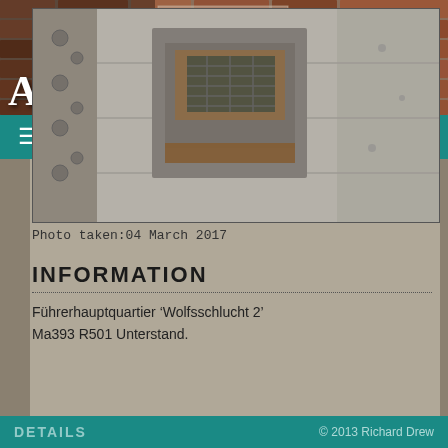[Figure (screenshot): Website header with brick wall background texture and Atlantikwall.co.uk logo in white serif text with a Facebook icon button]
[Figure (photo): Black and white photograph of a concrete bunker wall with a rusted metal embrasure/window opening, concrete pillars, and bolt holes visible]
Photo taken:04 March 2017
INFORMATION
Führerhauptquartier 'Wolfsschlucht 2'
Ma393 R501 Unterstand.
DETAILS   © 2013 Richard Drew